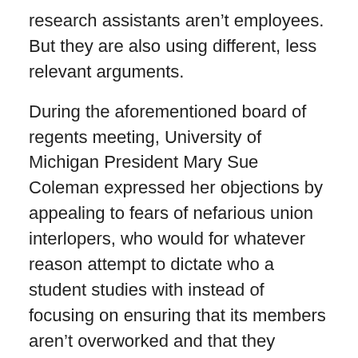research assistants aren't employees. But they are also using different, less relevant arguments.
During the aforementioned board of regents meeting, University of Michigan President Mary Sue Coleman expressed her objections by appealing to fears of nefarious union interlopers, who would for whatever reason attempt to dictate who a student studies with instead of focusing on ensuring that its members aren't overworked and that they receive fair compensation.
“Decisions about who a student studies with must remain with the two people who care most about the outcome — the student and his or her mentor,” Coleman said.
The unionization effort has also been publicly denounced by a group of faculty members and a group of current and